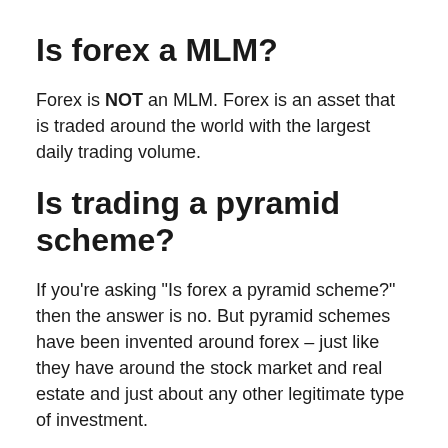Is forex a MLM?
Forex is NOT an MLM. Forex is an asset that is traded around the world with the largest daily trading volume.
Is trading a pyramid scheme?
If you’re asking “Is forex a pyramid scheme?” then the answer is no. But pyramid schemes have been invented around forex – just like they have around the stock market and real estate and just about any other legitimate type of investment.
Is forex a legitimate...